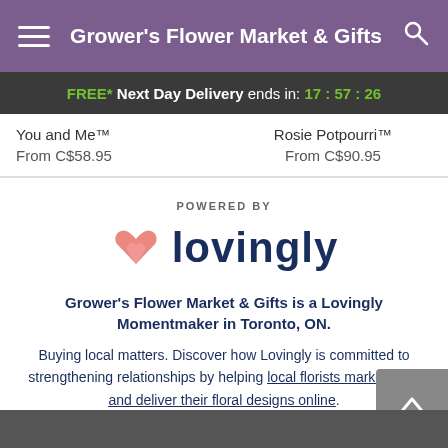Grower's Flower Market & Gifts
FREE* Next Day Delivery ends in: 17:57:26
You and Me™
From C$58.95
Rosie Potpourri™
From C$90.95
[Figure (logo): Lovingly logo with pink heart icon and 'lovingly' wordmark in dark navy]
POWERED BY
Grower's Flower Market & Gifts is a Lovingly Momentmaker in Toronto, ON.
Buying local matters. Discover how Lovingly is committed to strengthening relationships by helping local florists market, sell, and deliver their floral designs online.